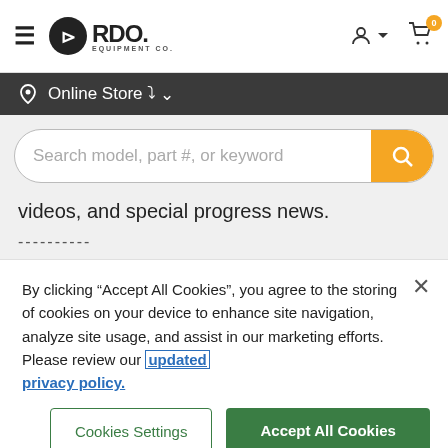[Figure (screenshot): RDO Equipment Co. website header with hamburger menu, logo, user icon, and cart icon with badge showing 0]
Online Store ▾
[Figure (screenshot): Search bar with placeholder text: Search model, part #, or keyword and yellow search button]
videos, and special progress news.
----------
By clicking “Accept All Cookies”, you agree to the storing of cookies on your device to enhance site navigation, analyze site usage, and assist in our marketing efforts. Please review our updated privacy policy.
Cookies Settings
Accept All Cookies